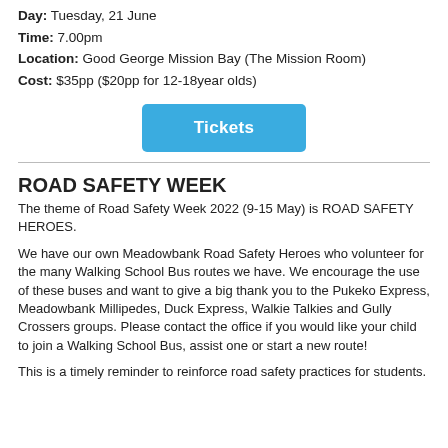Day: Tuesday, 21 June
Time: 7.00pm
Location: Good George Mission Bay (The Mission Room)
Cost: $35pp ($20pp for 12-18year olds)
[Figure (other): Blue button labeled Tickets]
ROAD SAFETY WEEK
The theme of Road Safety Week 2022 (9-15 May) is ROAD SAFETY HEROES.
We have our own Meadowbank Road Safety Heroes who volunteer for the many Walking School Bus routes we have. We encourage the use of these buses and want to give a big thank you to the Pukeko Express, Meadowbank Millipedes, Duck Express, Walkie Talkies and Gully Crossers groups. Please contact the office if you would like your child to join a Walking School Bus, assist one or start a new route!
This is a timely reminder to reinforce road safety practices for students.